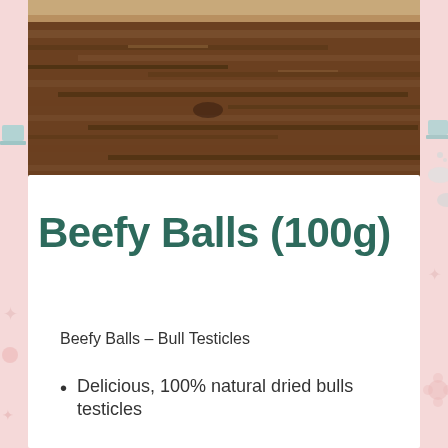[Figure (photo): Close-up photograph of rustic dark brown wooden planks with visible grain and texture]
Beefy Balls (100g)
Beefy Balls – Bull Testicles
Delicious, 100% natural dried bulls testicles